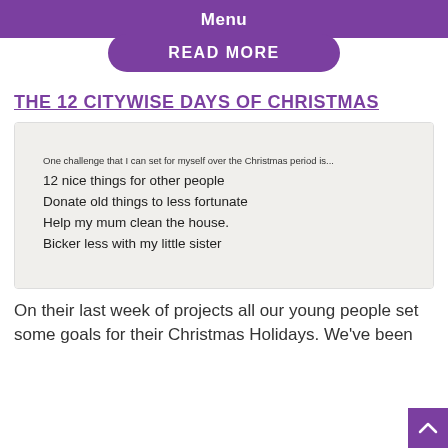Menu
READ MORE
THE 12 CITYWISE DAYS OF CHRISTMAS
[Figure (photo): Handwritten note on paper with text: 'One challenge that I can set for myself over the Christmas period is... 12 nice things for other people / Donate old things to less fortunate / Help my mum clean the house. / Bicker less with my little sister']
On their last week of projects all our young people set some goals for their Christmas Holidays. We've been